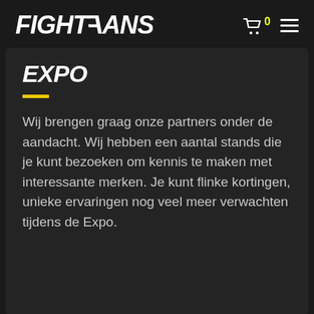FIGHTFANS
Expo
Wij brengen graag onze partners onder de aandacht. Wij hebben een aantal stands die je kunt bezoeken om kennis te maken met interessante merken. Je kunt flinke kortingen, unieke ervaringen nog veel meer verwachten tijdens de Expo.